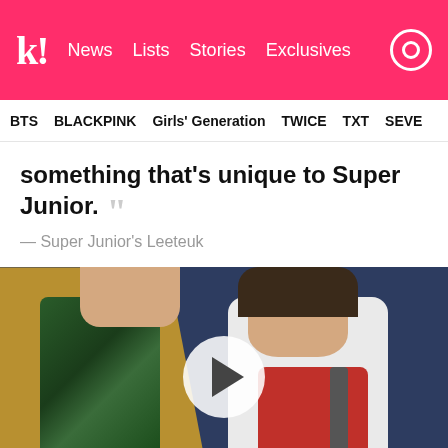k! News  Lists  Stories  Exclusives
BTS  BLACKPINK  Girls' Generation  TWICE  TXT  SEVE
something that's unique to Super Junior. ””
— Super Junior's Leeteuk
[Figure (photo): Video thumbnail showing two K-pop performers on stage. One in a yellow/mustard jacket and one in a white jacket holding a microphone. A white circular play button is overlaid in the center. Dark blue background.]